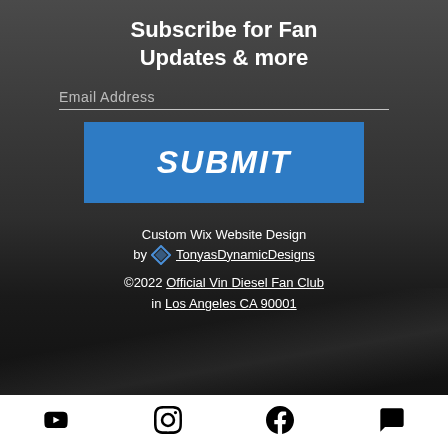Subscribe for Fan Updates & more
Email Address
SUBMIT
Custom Wix Website Design by TonyasDynamicDesigns
©2022 Official Vin Diesel Fan Club in Los Angeles CA 90001
[Figure (other): Social media icons row: YouTube, Instagram, Facebook, Chat/comment icon on white bar at bottom]
[Figure (photo): Dark background with a person and a car with light streaks, used as page background]